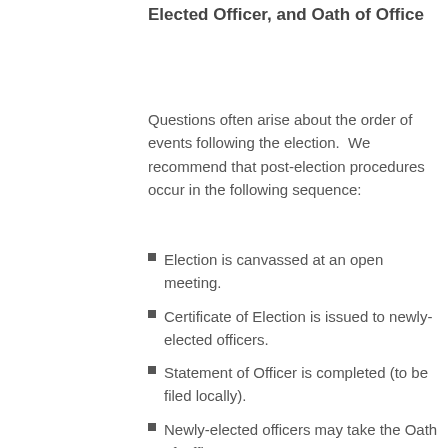Elected Officer, and Oath of Office
Questions often arise about the order of events following the election.  We recommend that post-election procedures occur in the following sequence:
Election is canvassed at an open meeting.
Certificate of Election is issued to newly-elected officers.
Statement of Officer is completed (to be filed locally).
Newly-elected officers may take the Oath of Office.